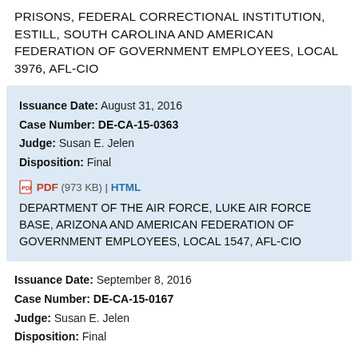PRISONS, FEDERAL CORRECTIONAL INSTITUTION, ESTILL, SOUTH CAROLINA AND AMERICAN FEDERATION OF GOVERNMENT EMPLOYEES, LOCAL 3976, AFL-CIO
Issuance Date: August 31, 2016
Case Number: DE-CA-15-0363
Judge: Susan E. Jelen
Disposition: Final
PDF (973 KB) | HTML
DEPARTMENT OF THE AIR FORCE, LUKE AIR FORCE BASE, ARIZONA AND AMERICAN FEDERATION OF GOVERNMENT EMPLOYEES, LOCAL 1547, AFL-CIO
Issuance Date: September 8, 2016
Case Number: DE-CA-15-0167
Judge: Susan E. Jelen
Disposition: Final